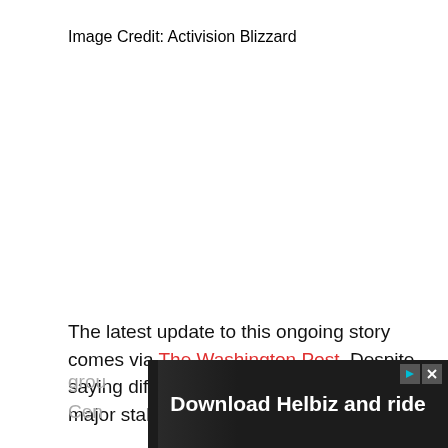Image Credit: Activision Blizzard
The latest update to this ongoing story comes via The Washington Post. Despite saying differently just days before, a major stakeholder grou...zing Cen...
[Figure (photo): Advertisement banner for 'Download Helbiz and ride' with a dark background showing a person, with ad controls (play/close buttons) in the top right corner. Partial text on left side shows 'grou' and 'Cen' from the article text behind.]